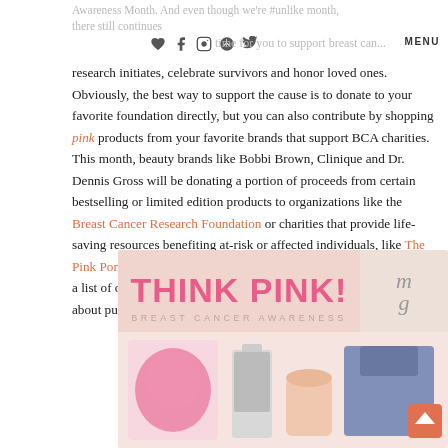Awareness Month. And even though we're #unlike month there still continues time for you to support breast cancer MENU
research initiates, celebrate survivors and honor loved ones. Obviously, the best way to support the cause is to donate to your favorite foundation directly, but you can also contribute by shopping pink products from your favorite brands that support BCA charities. This month, beauty brands like Bobbi Brown, Clinique and Dr. Dennis Gross will be donating a portion of proceeds from certain bestselling or limited edition products to organizations like the Breast Cancer Research Foundation or charities that provide life-saving resources benefiting at-risk or affected individuals, like The Pink Pony Fund created by the Ralph Lauren Cooperation. Below is a list of over 20 items that you can buy now and feel really good about purchase.
[Figure (infographic): Think Pink! Breast Cancer Awareness infographic banner with product images and a script logo]